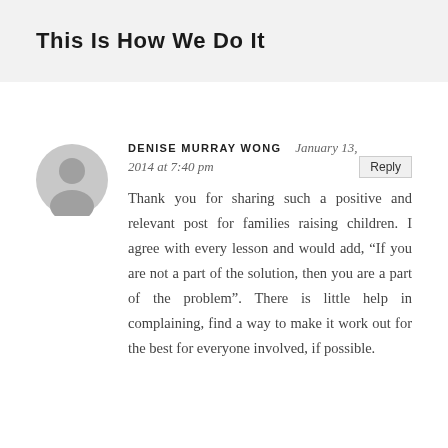This Is How We Do It
DENISE MURRAY WONG   January 13, 2014 at 7:40 pm
Thank you for sharing such a positive and relevant post for families raising children. I agree with every lesson and would add, “If you are not a part of the solution, then you are a part of the problem”. There is little help in complaining, find a way to make it work out for the best for everyone involved, if possible.